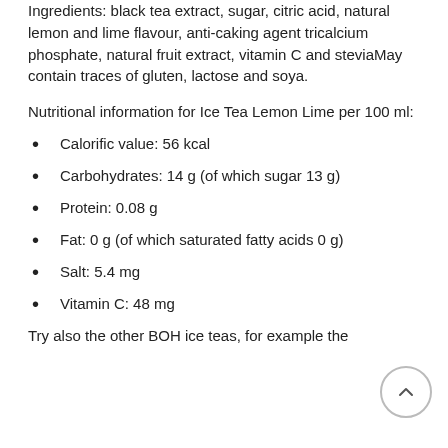Ingredients: black tea extract, sugar, citric acid, natural lemon and lime flavour, anti-caking agent tricalcium phosphate, natural fruit extract, vitamin C and steviaMay contain traces of gluten, lactose and soya.
Nutritional information for Ice Tea Lemon Lime per 100 ml:
Calorific value: 56 kcal
Carbohydrates: 14 g (of which sugar 13 g)
Protein: 0.08 g
Fat: 0 g (of which saturated fatty acids 0 g)
Salt: 5.4 mg
Vitamin C: 48 mg
Try also the other BOH ice teas, for example the